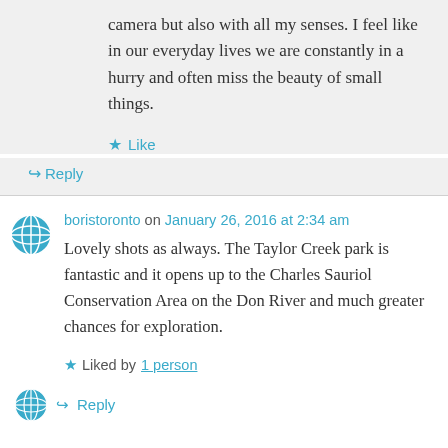camera but also with all my senses. I feel like in our everyday lives we are constantly in a hurry and often miss the beauty of small things.
Like
Reply
boristoronto on January 26, 2016 at 2:34 am
Lovely shots as always. The Taylor Creek park is fantastic and it opens up to the Charles Sauriol Conservation Area on the Don River and much greater chances for exploration.
Liked by 1 person
Reply